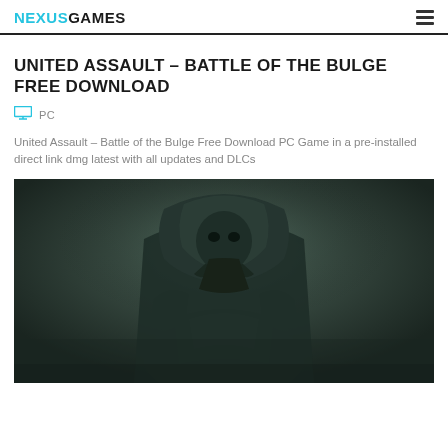NEXUSGAMES
UNITED ASSAULT – BATTLE OF THE BULGE FREE DOWNLOAD
PC
United Assault – Battle of the Bulge Free Download PC Game in a pre-installed direct link dmg latest with all updates and DLCs
[Figure (illustration): Dark fantasy armored character with a bird-like plague mask and hood, rendered in dark teal/green tones]